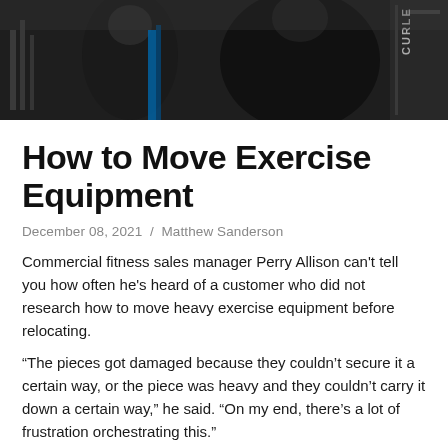[Figure (photo): Banner photo of gym equipment and people in athletic wear in a fitness center setting]
How to Move Exercise Equipment
December 08, 2021 / Matthew Sanderson
Commercial fitness sales manager Perry Allison can't tell you how often he's heard of a customer who did not research how to move heavy exercise equipment before relocating.
“The pieces got damaged because they couldn’t secure it a certain way, or the piece was heavy and they couldn’t carry it down a certain way,” he said. “On my end, there’s a lot of frustration orchestrating this.”
Exercising at home offers perks compared to paying for